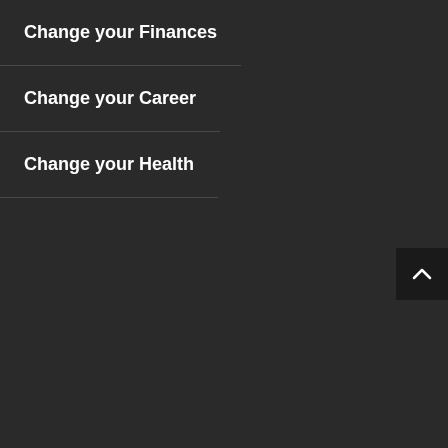Change your Finances
Change your Career
Change your Health
[Figure (other): Scroll to top button with upward chevron arrow icon in bottom-right corner]